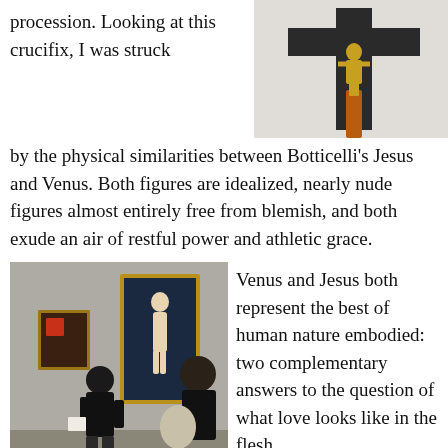procession. Looking at this crucifix, I was struck
[Figure (photo): Photo of a crucifix with a golden figure on a dark cross against a light background]
by the physical similarities between Botticelli's Jesus and Venus. Both figures are idealized, nearly nude figures almost entirely free from blemish, and both exude an air of restful power and athletic grace.
[Figure (photo): Photo of museum visitors looking at Botticelli's Venus painting on a gallery wall]
Venus and Jesus both represent the best of human nature embodied: two complementary answers to the question of what love looks like in the flesh. Venus represents carnal love and Jesus represents spiritual love, but both are beautiful, flawless beings because they represent love's transformative power. And through the lens of love, all